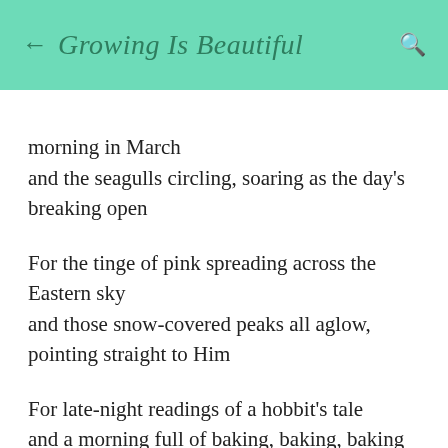Growing Is Beautiful
morning in March
and the seagulls circling, soaring as the day's
breaking open
For the tinge of pink spreading across the Eastern sky
and those snow-covered peaks all aglow, pointing straight to Him
For late-night readings of a hobbit's tale
and a morning full of baking, baking, baking